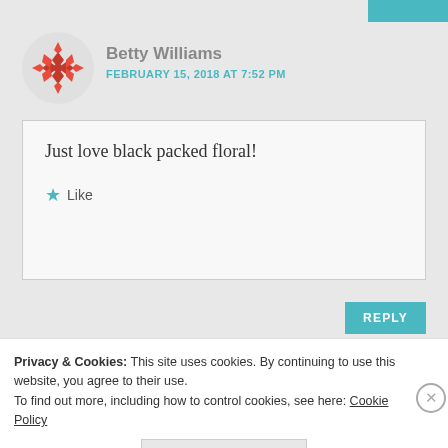[Figure (logo): Decorative geometric/floral avatar icon in red/orange for user Betty Williams]
Betty Williams
FEBRUARY 15, 2018 AT 7:52 PM
Just love black packed floral!
★ Like
REPLY
Privacy & Cookies: This site uses cookies. By continuing to use this website, you agree to their use.
To find out more, including how to control cookies, see here: Cookie Policy
Close and accept